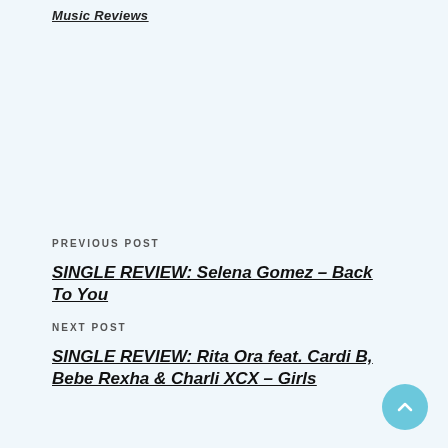Music Reviews
PREVIOUS POST
SINGLE REVIEW: Selena Gomez – Back To You
NEXT POST
SINGLE REVIEW: Rita Ora feat. Cardi B, Bebe Rexha & Charli XCX – Girls